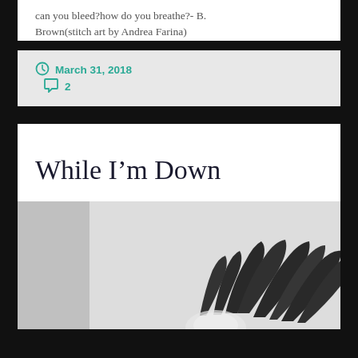can you bleed?how do you breathe?- B. Brown(stitch art by Andrea Farina)
March 31, 2018   2
While I'm Down
[Figure (photo): Black and white photo showing dark leaf or feather-like shapes against a light grey/white background]